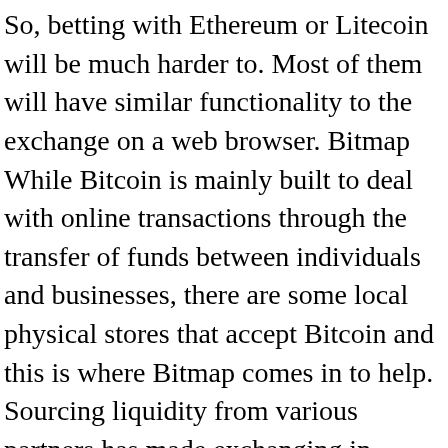So, betting with Ethereum or Litecoin will be much harder to. Most of them will have similar functionality to the exchange on a web browser. Bitmap While Bitcoin is mainly built to deal with online transactions through the transfer of funds between individuals and businesses, there are some local physical stores that accept Bitcoin and this is where Bitmap comes in to help. Sourcing liquidity from various partners has made exchanging in Exodus faster and more reliable. Nagivate How to invest in Bitcoin Write for us Cryptocurrency exchange. It is essentially an encrypted asset that can be earned through the method of mining or exchanged for using fiat currency. Make